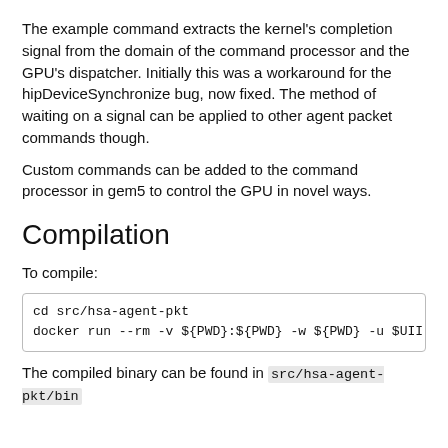The example command extracts the kernel's completion signal from the domain of the command processor and the GPU's dispatcher. Initially this was a workaround for the hipDeviceSynchronize bug, now fixed. The method of waiting on a signal can be applied to other agent packet commands though.
Custom commands can be added to the command processor in gem5 to control the GPU in novel ways.
Compilation
To compile:
cd src/hsa-agent-pkt
docker run --rm -v ${PWD}:${PWD} -w ${PWD} -u $UII
The compiled binary can be found in src/hsa-agent-pkt/bin